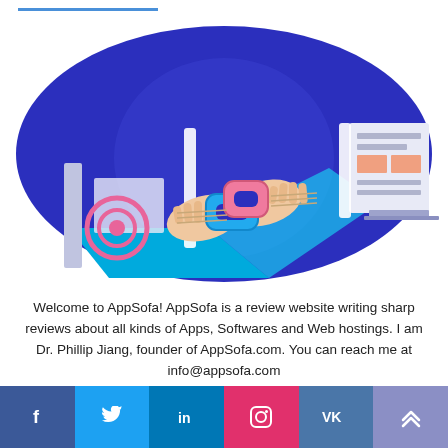[Figure (illustration): Oval dark blue background with two hands holding a chain link connector (blue and pink), a target/bullseye icon on the left, a document/webpage layout on the right, and blue diagonal stripe at the bottom.]
Welcome to AppSofa! AppSofa is a review website writing sharp reviews about all kinds of Apps, Softwares and Web hostings. I am Dr. Phillip Jiang, founder of AppSofa.com. You can reach me at info@appsofa.com
[Figure (infographic): Social media icon bar with Facebook (f), Twitter (bird), LinkedIn (in), Instagram (camera), VK (vk), and an up-arrow button.]